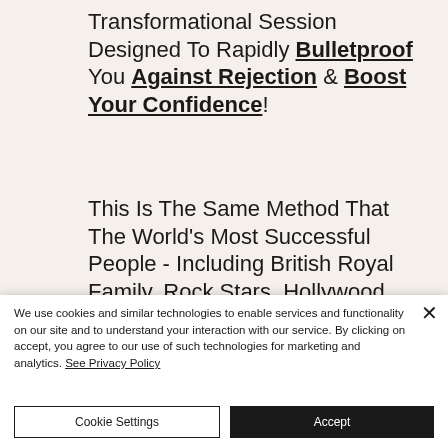Transformational Session Designed To Rapidly Bulletproof You Against Rejection & Boost Your Confidence!
This Is The Same Method That The World's Most Successful People - Including British Royal Family, Rock Stars, Hollywood Actors, Olympic Athletes
We use cookies and similar technologies to enable services and functionality on our site and to understand your interaction with our service. By clicking on accept, you agree to our use of such technologies for marketing and analytics. See Privacy Policy